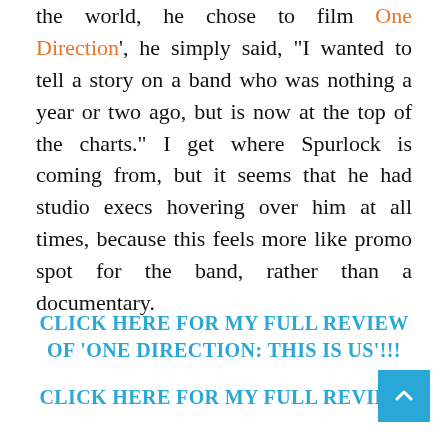the world, he chose to film One Direction', he simply said, “I wanted to tell a story on a band who was nothing a year or two ago, but is now at the top of the charts.” I get where Spurlock is coming from, but it seems that he had studio execs hovering over him at all times, because this feels more like promo spot for the band, rather than a documentary.
CLICK HERE FOR MY FULL REVIEW OF ‘ONE DIRECTION: THIS IS US’!!!
CLICK HERE FOR MY FULL REVIEW